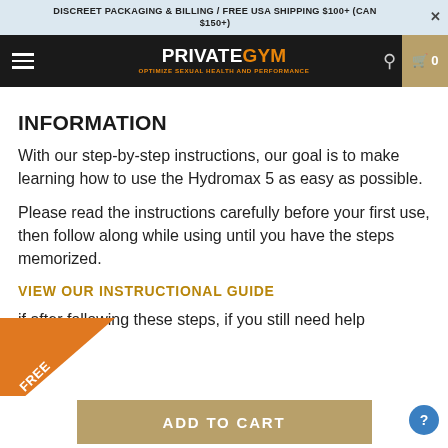DISCREET PACKAGING & BILLING / FREE USA SHIPPING $100+ (CAN $150+)
[Figure (screenshot): Private Gym navigation bar with hamburger menu, logo reading PRIVATEGYM with tagline OPTIMIZE SEXUAL HEALTH AND PERFORMANCE, search icon, and cart icon showing 0 items]
INFORMATION
With our step-by-step instructions, our goal is to make learning how to use the Hydromax 5 as easy as possible.
Please read the instructions carefully before your first use, then follow along while using until you have the steps memorized.
VIEW OUR INSTRUCTIONAL GUIDE
if after following these steps, if you still need help
[Figure (illustration): Orange diagonal ribbon badge in bottom-left corner with text FREE BOOK! and arrow]
ADD TO CART